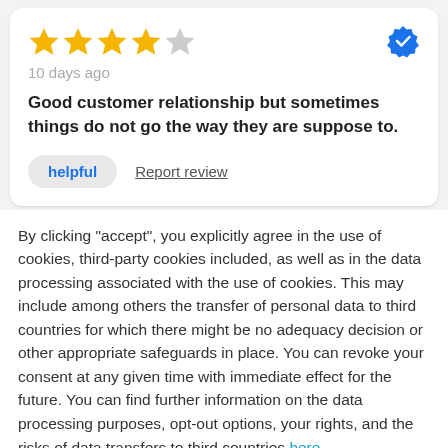[Figure (other): Star rating: 4 out of 5 stars (4 filled yellow stars, 1 gray star) with a blue verified badge checkmark icon in the top right]
10 days ago
Good customer relationship but sometimes things do not go the way they are suppose to.
helpful   Report review
By clicking "accept", you explicitly agree in the use of cookies, third-party cookies included, as well as in the data processing associated with the use of cookies. This may include among others the transfer of personal data to third countries for which there might be no adequacy decision or other appropriate safeguards in place. You can revoke your consent at any given time with immediate effect for the future. You can find further information on the data processing purposes, opt-out options, your rights, and the risks of data transfers to third countries here.
ACCEPT